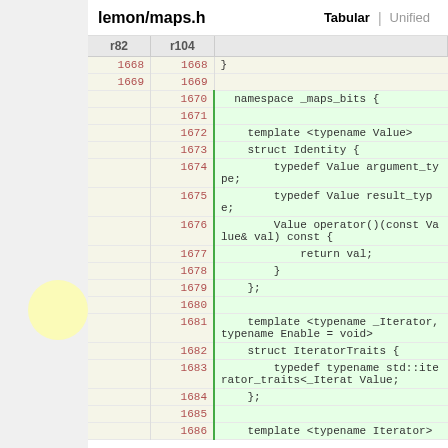lemon/maps.h  Tabular | Unified
| r82 | r104 |  |
| --- | --- | --- |
| 1668 | 1668 | } |
| 1669 | 1669 |  |
|  | 1670 | namespace _maps_bits { |
|  | 1671 |  |
|  | 1672 |     template <typename Value> |
|  | 1673 |     struct Identity { |
|  | 1674 |         typedef Value argument_type; |
|  | 1675 |         typedef Value result_type; |
|  | 1676 |         Value operator()(const Value& val) const { |
|  | 1677 |             return val; |
|  | 1678 |         } |
|  | 1679 |     }; |
|  | 1680 |  |
|  | 1681 |     template <typename _Iterator, typename Enable = void> |
|  | 1682 |     struct IteratorTraits { |
|  | 1683 |         typedef typename std::iterator_traits<_Iterat Value; |
|  | 1684 |     }; |
|  | 1685 |  |
|  | 1686 |     template <typename Iterator> |